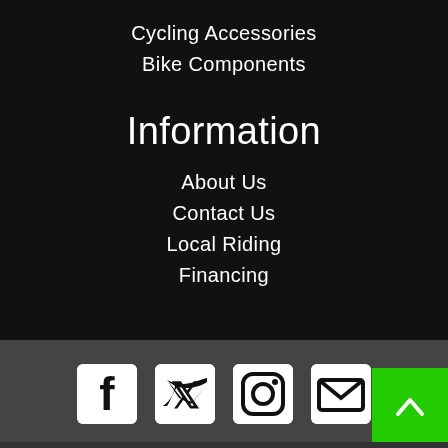Cycling Accessories
Bike Components
Information
About Us
Contact Us
Local Riding
Financing
[Figure (infographic): Social media icons row: Facebook, Twitter, Instagram, Email, plus a green back-to-top button with chevron]